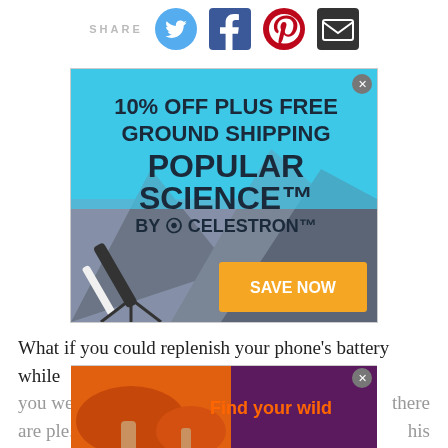[Figure (other): Share bar with SHARE label and Twitter, Facebook, Pinterest, and Email icons]
[Figure (other): Advertisement banner: 10% OFF PLUS FREE GROUND SHIPPING - POPULAR SCIENCE BY CELESTRON with telescope image and orange SAVE NOW button. Blue and mountain background.]
What if you could replenish your phone's battery while you we... there are ple... nis
[Figure (other): Advertisement banner: Find your wild - with mushroom photo]